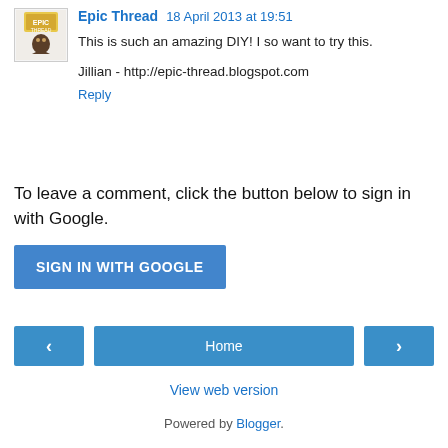Epic Thread  18 April 2013 at 19:51
This is such an amazing DIY! I so want to try this.

Jillian - http://epic-thread.blogspot.com
Reply
To leave a comment, click the button below to sign in with Google.
SIGN IN WITH GOOGLE
Home
View web version
Powered by Blogger.